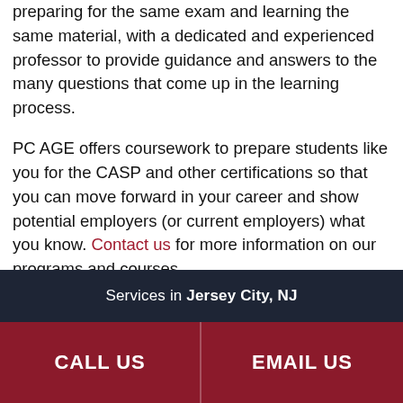best inside a classroom with others who are preparing for the same exam and learning the same material, with a dedicated and experienced professor to provide guidance and answers to the many questions that come up in the learning process.

PC AGE offers coursework to prepare students like you for the CASP and other certifications so that you can move forward in your career and show potential employers (or current employers) what you know. Contact us for more information on our programs and courses.
Services in Jersey City, NJ
CALL US   EMAIL US